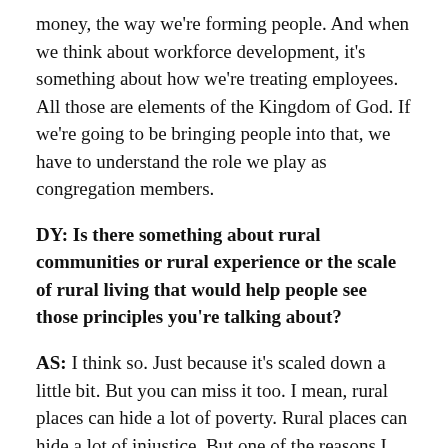money, the way we're forming people. And when we think about workforce development, it's something about how we're treating employees. All those are elements of the Kingdom of God. If we're going to be bringing people into that, we have to understand the role we play as congregation members.
DY: Is there something about rural communities or rural experience or the scale of rural living that would help people see those principles you're talking about?
AS: I think so. Just because it's scaled down a little bit. But you can miss it too. I mean, rural places can hide a lot of poverty. Rural places can hide a lot of injustice. But one of the reasons I love being in a rural